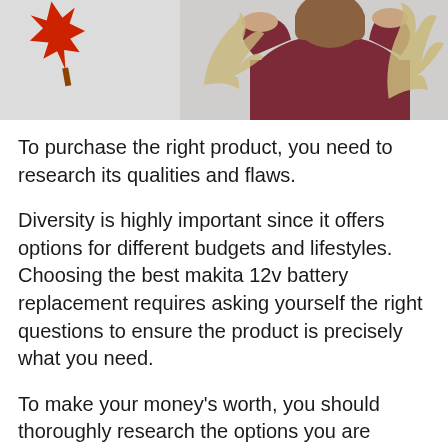[Figure (photo): Partial photo showing a person in a dark red/maroon sweater with arms raised, surrounded by autumn/fall decorative elements including a red maple leaf on the left and beige palm leaves on the right and center, against a light grey background.]
To purchase the right product, you need to research its qualities and flaws.
Diversity is highly important since it offers options for different budgets and lifestyles. Choosing the best makita 12v battery replacement requires asking yourself the right questions to ensure the product is precisely what you need.
To make your money’s worth, you should thoroughly research the options you are presented with and ask the following questions: